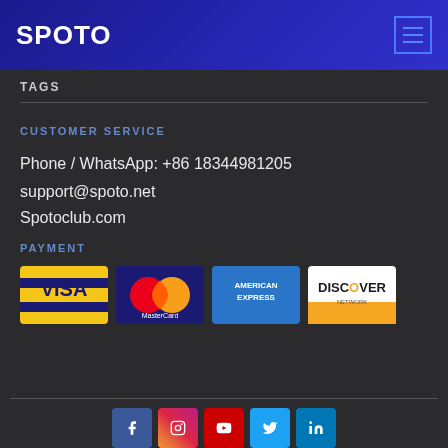SPOTO
TAGS
CUSTOMER SERVICE
Phone / WhatsApp: +86 18344981205
support@spoto.net
Spotoclub.com
PAYMENT
[Figure (infographic): Payment method logos: Visa, MasterCard, American Express, Discover Network]
Powered By spoto.info © 2022